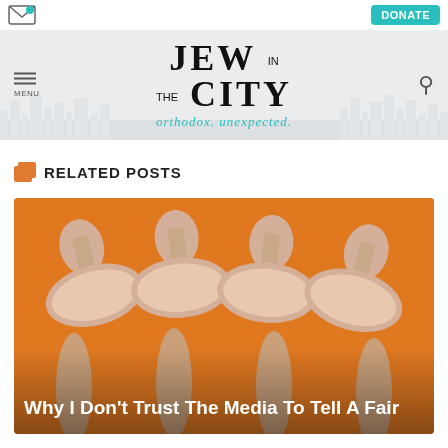[Figure (logo): Jew in the City website header with logo, menu icon, search icon, and donate button. Logo reads JEW IN THE CITY with tagline 'orthodox. unexpected.' in teal italic text. Skyline silhouette in background.]
RELATED POSTS
[Figure (photo): Orange background image showing four hands holding megaphones/bullhorns pointed upward. White overlay text at bottom reads 'Why I Don't Trust The Media To Tell A Fair']